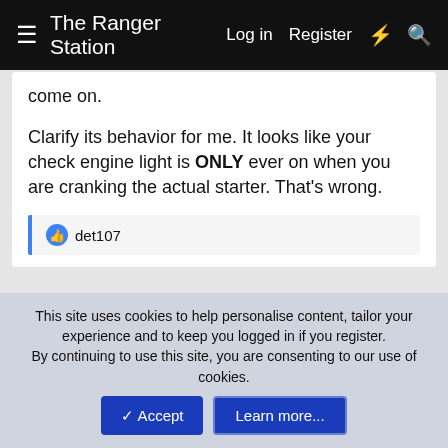The Ranger Station   Log in   Register
come on.
Clarify its behavior for me. It looks like your check engine light is ONLY ever on when you are cranking the actual starter. That's wrong.
👍 det107
adsm08
Senior Master Grease Monkey   Supporting Member
Article Contributor   Ford Technician   TRS 20th Anniversary
Nov 2, 2012   #3
This site uses cookies to help personalise content, tailor your experience and to keep you logged in if you register.
By continuing to use this site, you are consenting to our use of cookies.